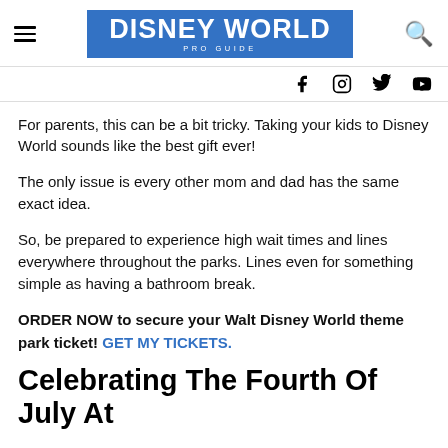DISNEY WORLD PRO GUIDE
For parents, this can be a bit tricky. Taking your kids to Disney World sounds like the best gift ever!
The only issue is every other mom and dad has the same exact idea.
So, be prepared to experience high wait times and lines everywhere throughout the parks. Lines even for something simple as having a bathroom break.
ORDER NOW to secure your Walt Disney World theme park ticket! GET MY TICKETS.
Celebrating The Fourth Of July At